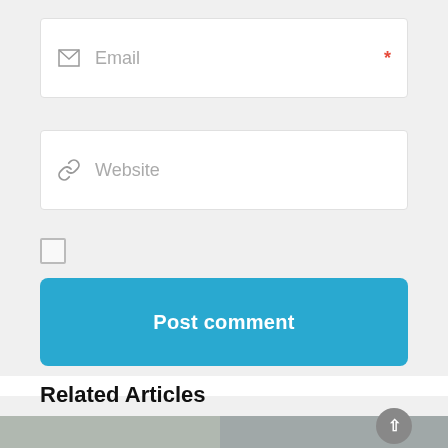[Figure (screenshot): Email input field with envelope icon and red asterisk required marker]
[Figure (screenshot): Website input field with link/chain icon]
[Figure (screenshot): Checkbox (unchecked)]
[Figure (screenshot): Post comment button in sky blue]
Related Articles
[Figure (photo): Two house photos at bottom of page]